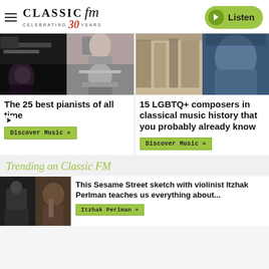CLASSIC FM — Celebrating 30 Years — Listen
[Figure (photo): Grid of four photos: top row shows musician at piano and hands on keys, bottom row shows woman in dark dress and man thinking at piano (black and white). Play button overlay visible.]
The 25 best pianists of all time
Discover Music »
[Figure (photo): Two photos side by side: hanging coats/shirts on rack and man in blue jacket]
15 LGBTQ+ composers in classical music history that you probably already know
Discover Music »
Trending on Classic FM
[Figure (photo): Two side-by-side photos: man at piano (back view) and violinist Itzhak Perlman performing]
This Sesame Street sketch with violinist Itzhak Perlman teaches us everything about...
Itzhak Perlman »